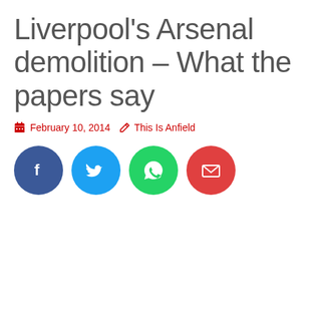Liverpool's Arsenal demolition – What the papers say
February 10, 2014  This Is Anfield
[Figure (other): Social share buttons: Facebook (dark blue circle), Twitter (light blue circle), WhatsApp (green circle), Email (red circle)]